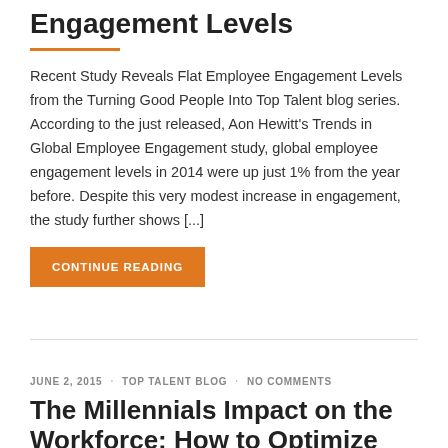Engagement Levels
Recent Study Reveals Flat Employee Engagement Levels from the Turning Good People Into Top Talent blog series. According to the just released, Aon Hewitt's Trends in Global Employee Engagement study, global employee engagement levels in 2014 were up just 1% from the year before. Despite this very modest increase in engagement, the study further shows [...]
CONTINUE READING
JUNE 2, 2015 · TOP TALENT BLOG · NO COMMENTS
The Millennials Impact on the Workforce: How to Optimize their